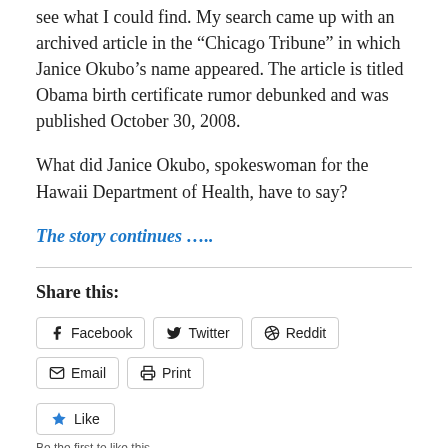see what I could find. My search came up with an archived article in the “Chicago Tribune” in which Janice Okubo’s name appeared. The article is titled Obama birth certificate rumor debunked and was published October 30, 2008.
What did Janice Okubo, spokeswoman for the Hawaii Department of Health, have to say?
The story continues …..
Share this:
Facebook  Twitter  Reddit  Email  Print
Like
Be the first to like this.
April 30, 2009    1 Reply